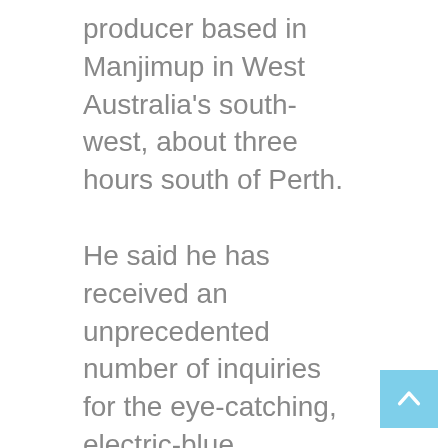producer based in Manjimup in West Australia's south-west, about three hours south of Perth.
He said he has received an unprecedented number of inquiries for the eye-catching, electric-blue